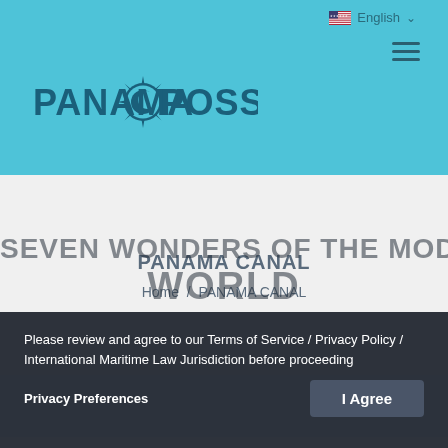[Figure (logo): Panama Posse logo with compass and crescent moon in teal/blue color]
English
PANAMA CANAL
Home / PANAMA CANAL
Please review and agree to our Terms of Service / Privacy Policy / International Maritime Law Jurisdiction before proceeding
Privacy Preferences
I Agree